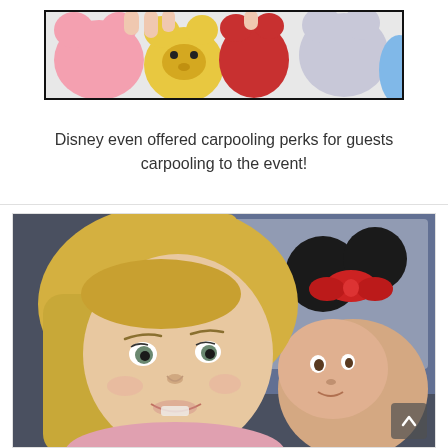[Figure (photo): Photo of colorful Disney plush stuffed animals/tsum tsums in a car, partially cropped at top]
Disney even offered carpooling perks for guests carpooling to the event!
[Figure (photo): Selfie photo of a blonde woman and a young girl wearing Minnie Mouse ears with a red bow, taken inside a car]